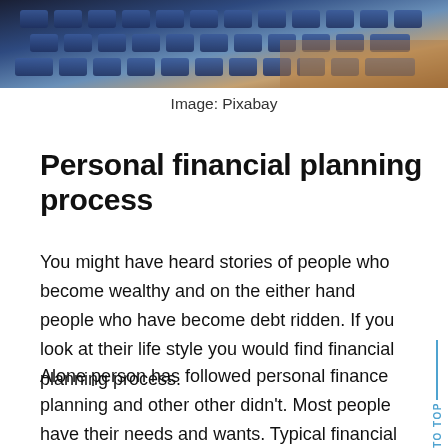[Figure (photo): Close-up photograph of a laptop keyboard on a wooden desk, partially cropped at top of page]
Image: Pixabay
Personal financial planning process
You might have heard stories of people who become wealthy and on the either hand people who have become debt ridden. If you look at their life style you would find financial planning process.
Alone person has followed personal finance planning and other other didn't. Most people have their needs and wants. Typical financial goals include things like a new car, a new home, travel and self-sufficiency during retirement life.